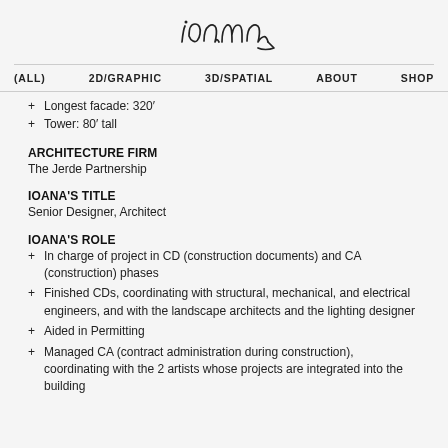[Figure (logo): Handwritten script logo reading 'ioana']
(ALL)  2D/GRAPHIC  3D/SPATIAL  ABOUT  SHOP
+ Longest facade: 320'
+ Tower: 80' tall
ARCHITECTURE FIRM
The Jerde Partnership
IOANA'S TITLE
Senior Designer, Architect
IOANA'S ROLE
+ In charge of project in CD (construction documents) and CA (construction) phases
+ Finished CDs, coordinating with structural, mechanical, and electrical engineers, and with the landscape architects and the lighting designer
+ Aided in Permitting
+ Managed CA (contract administration during construction), coordinating with the 2 artists whose projects are integrated into the building